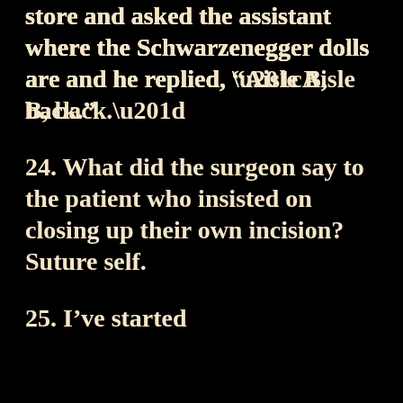store and asked the assistant where the Schwarzenegger dolls are and he replied, “Aisle B, back.”
24. What did the surgeon say to the patient who insisted on closing up their own incision? Suture self.
25. I’ve started